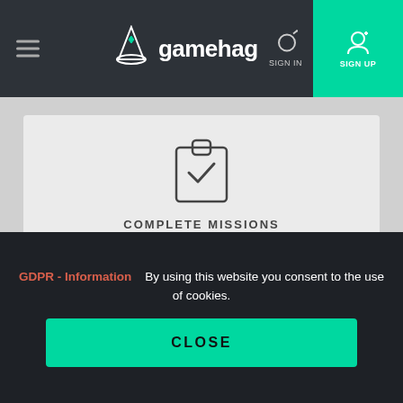gamehag — SIGN IN | SIGN UP
[Figure (illustration): Clipboard with checkmark icon above text COMPLETE MISSIONS]
COMPLETE MISSIONS
[Figure (illustration): Shopping cart icon above text PURCHASE]
PURCHASE
GDPR - Information   By using this website you consent to the use of cookies.
CLOSE